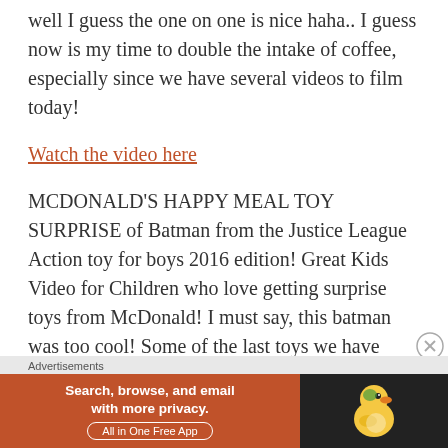well I guess the one on one is nice haha.. I guess now is my time to double the intake of coffee, especially since we have several videos to film today!
Watch the video here
MCDONALD'S HAPPY MEAL TOY SURPRISE of Batman from the Justice League Action toy for boys 2016 edition! Great Kids Video for Children who love getting surprise toys from McDonald! I must say, this batman was too cool! Some of the last toys we have gotten haven't been that great, but this little weapon throwing Batman is pretty sweet and totally worth the $1.50 we paid for!
Advertisements
[Figure (other): DuckDuckGo advertisement banner: orange background with text 'Search, browse, and email with more privacy. All in One Free App' and DuckDuckGo duck logo on dark background]